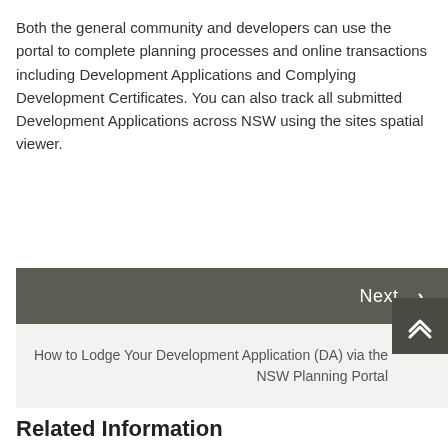Both the general community and developers can use the portal to complete planning processes and online transactions including Development Applications and Complying Development Certificates. You can also track all submitted Development Applications across NSW using the sites spatial viewer.
Next >
How to Lodge Your Development Application (DA) via the NSW Planning Portal
Related Information